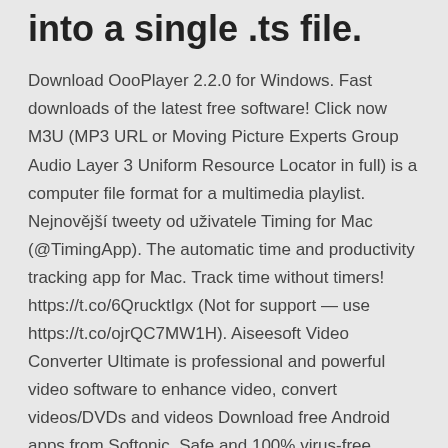into a single .ts file.
Download OooPlayer 2.2.0 for Windows. Fast downloads of the latest free software! Click now M3U (MP3 URL or Moving Picture Experts Group Audio Layer 3 Uniform Resource Locator in full) is a computer file format for a multimedia playlist. Nejnovější tweety od uživatele Timing for Mac (@TimingApp). The automatic time and productivity tracking app for Mac. Track time without timers! https://t.co/6QrucktIgx (Not for support — use https://t.co/ojrQC7MW1H). Aiseesoft Video Converter Ultimate is professional and powerful video software to enhance video, convert videos/DVDs and videos Download free Android apps from Softonic. Safe and 100% virus-free. Discover apps for Android, Windows, Mac and mobile, tips, tutorials and videos, and much more. The website created to help you enjoy the best software.